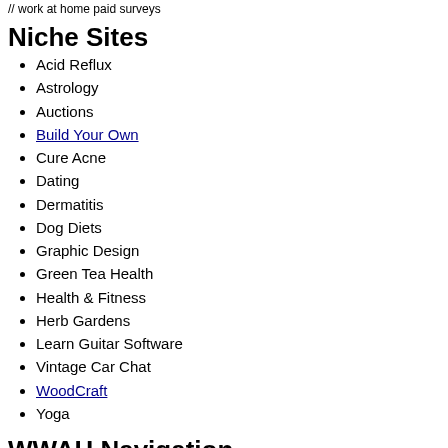// work at home paid surveys
Niche Sites
Acid Reflux
Astrology
Auctions
Build Your Own
Cure Acne
Dating
Dermatitis
Dog Diets
Graphic Design
Green Tea Health
Health & Fitness
Herb Gardens
Learn Guitar Software
Vintage Car Chat
WoodCraft
Yoga
WWAH Navigation
About
Archives